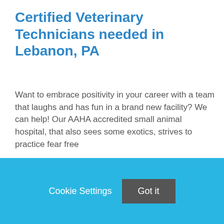Certified Veterinary Technicians needed in Lebanon, PA
Want to embrace positivity in your career with a team that laughs and has fun in a brand new facility? We can help! Our AAHA accredited small animal hospital, that also sees some exotics, strives to practice fear free
This job listing is no longer active.
Cookie Settings
Got it
We use cookies so that we can remember you and understand how you use our site. If you do not agree with our use of cookies, please change the current settings found in our Cookie Policy. Otherwise, you agree to the use of the cookies as they are currently set.